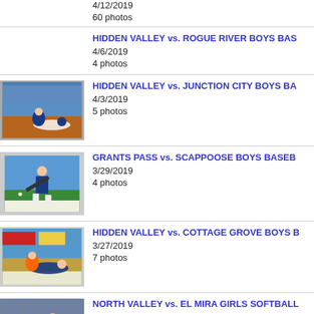4/12/2019
60 photos
HIDDEN VALLEY vs. ROGUE RIVER BOYS BAS... | 4/6/2019 | 4 photos
HIDDEN VALLEY vs. JUNCTION CITY BOYS BA... | 4/3/2019 | 5 photos
GRANTS PASS vs. SCAPPOOSE BOYS BASEB... | 3/29/2019 | 4 photos
HIDDEN VALLEY vs. COTTAGE GROVE BOYS B... | 3/27/2019 | 7 photos
NORTH VALLEY vs. EL MIRA GIRLS SOFTBALL... | 3/16/2019 | 6 photos